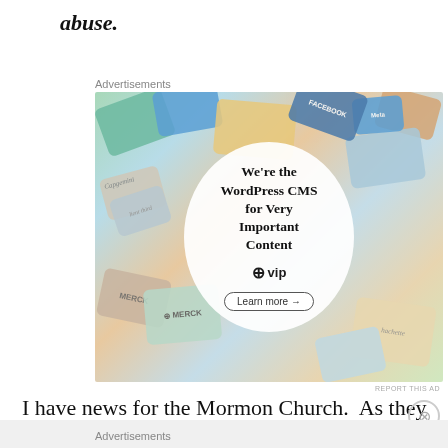abuse.
Advertisements
[Figure (screenshot): WordPress VIP advertisement showing 'We're the WordPress CMS for Very Important Content' with a Learn more button, surrounded by colorful brand cards including Meta, Facebook, Merck, and Hachette logos.]
REPORT THIS AD
I have news for the Mormon Church.  As they
Advertisements